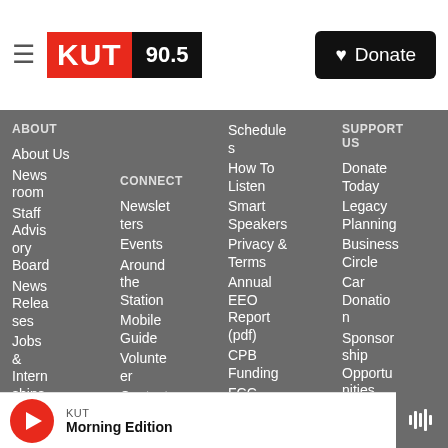[Figure (logo): KUT 90.5 radio station logo with red KUT block and black 90.5 block]
Donate
ABOUT
About Us
Newsroom
Staff Advisory Board
News Releases
Jobs & Internships
CONNECT
Newsletters
Events
Around the Station
Mobile Guide
Volunteer
Contact Us
Schedules
How To Listen
Smart Speakers
Privacy & Terms
Annual EEO Report (pdf)
CPB Funding
FCC Public File
SUPPORT US
Donate Today
Legacy Planning
Business Circle
Car Donation
Sponsorship Opportunities
Member Login
KUT
Morning Edition